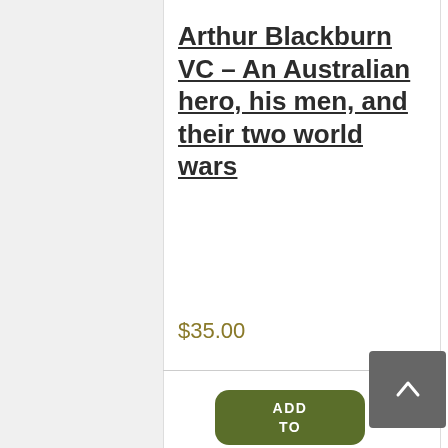[Figure (photo): Top strip of a book cover image showing greenery/foliage]
Arthur Blackburn VC – An Australian hero, his men, and their two world wars
$35.00
[Figure (other): ADD TO button — add to cart button in olive/dark green rounded rectangle]